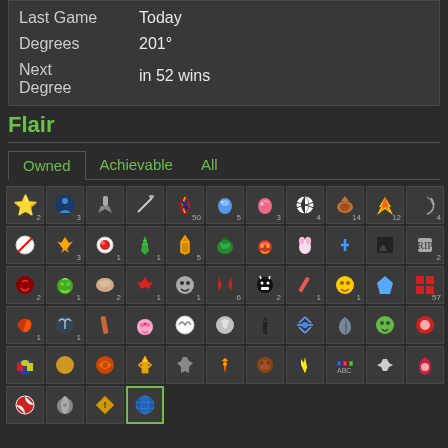| Label | Value |
| --- | --- |
| Last Game | Today |
| Degrees | 201° |
| Next Degree | in 52 wins |
Flair
Owned  Achievable  All
[Figure (other): Grid of game flair icons with numeric counts, showing owned flair items including star, archery, axe, sword, rainbow, egg, easter egg, soccer, football, construction cones, bird, compass, fire, eye, tree, lambda, top hat, turkey, bunny, plus, fist, tombstone, vampire, shrek, crown, red bird, skull face, candy, sunflower, arrow, pixel skull, parrot, shark, pencil, pig, baseball, swirl, penguin, snowflake, claw, alien, strawberry, captain, peace, world, trident, axe, flame, acorn, lightning, abc, airplane, heart, pokeball, yin-yang, road sign, globe (selected)]